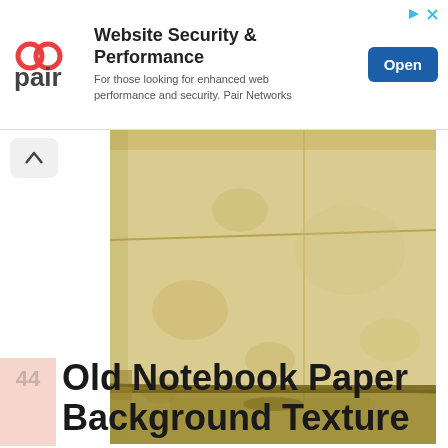[Figure (other): Advertisement banner for Pair Networks showing logo, headline 'Website Security & Performance', subtext, and Open button]
[Figure (photo): Aged folded paper texture — yellowed, stained, wrinkled notebook-style paper photographed on white background]
Aged Folded paper texture by l--Zoldalma--l
44 Old Notebook Paper Background Texture